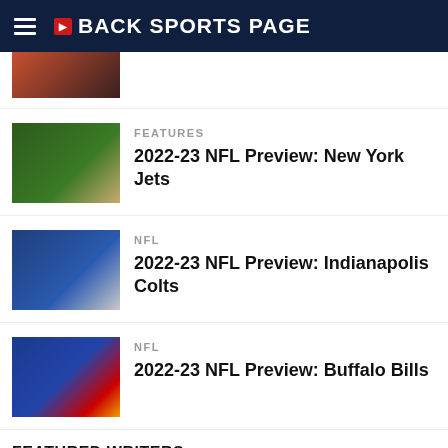BACK SPORTS PAGE
[Figure (photo): Partial photo of football player at top of page (cropped)]
FEATURES
2022-23 NFL Preview: New York Jets
[Figure (photo): New York Jets players in green uniforms at practice]
NFL
2022-23 NFL Preview: Indianapolis Colts
[Figure (photo): Indianapolis Colts player #51 in blue and white uniform]
NFL
2022-23 NFL Preview: Buffalo Bills
[Figure (photo): Buffalo Bills player #17 in blue uniform]
FEATURED WRITERS
RANDY ZELLEA